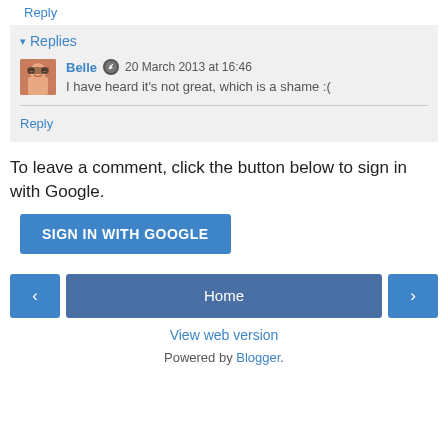Reply
▾ Replies
Belle  20 March 2013 at 16:46
I have heard it's not great, which is a shame :(
Reply
To leave a comment, click the button below to sign in with Google.
SIGN IN WITH GOOGLE
‹
Home
›
View web version
Powered by Blogger.